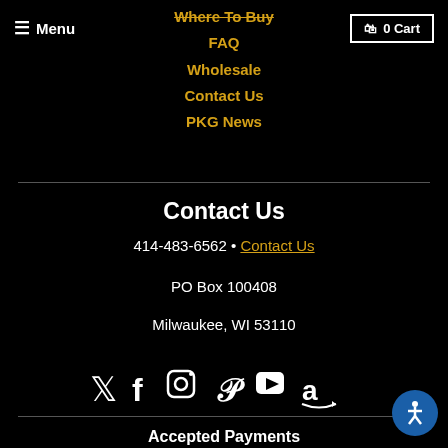Menu | 0 Cart
Where To Buy
FAQ
Wholesale
Contact Us
PKG News
Contact Us
414-483-6562 • Contact Us
PO Box 100408
Milwaukee, WI 53110
[Figure (infographic): Social media icons: Twitter, Facebook, Instagram, Pinterest, YouTube, Amazon]
Accepted Payments